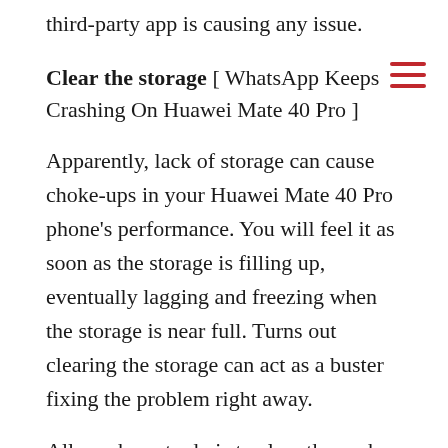third-party app is causing any issue.
Clear the storage [ WhatsApp Keeps Crashing On Huawei Mate 40 Pro ]
Apparently, lack of storage can cause choke-ups in your Huawei Mate 40 Pro phone's performance. You will feel it as soon as the storage is filling up, eventually lagging and freezing when the storage is near full. Turns out clearing the storage can act as a buster fixing the problem right away.
All you have to do is to clear the cache, uninstall unwanted apps, and delete unwanted files. Also,